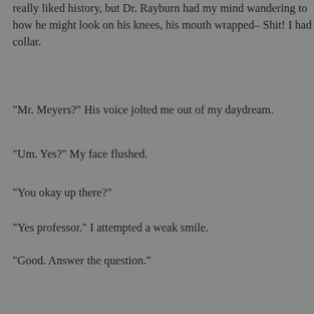really liked history, but Dr. Rayburn had my mind wandering to how he might look on his knees, his mouth wrapped– Shit! I had collar.
“Mr. Meyers?” His voice jolted me out of my daydream.
“Um. Yes?” My face flushed.
“You okay up there?”
“Yes professor.” I attempted a weak smile.
“Good. Answer the question.”
Crap. What was the question again? Colonies? India?
“Uh...very carefully?” Jokes diffused the tension, right?
A couple students chuckled, but Dr. Rayburn didn’t crack a smile.
“Care to elaborate?” He asked, ignoring the joke completely.